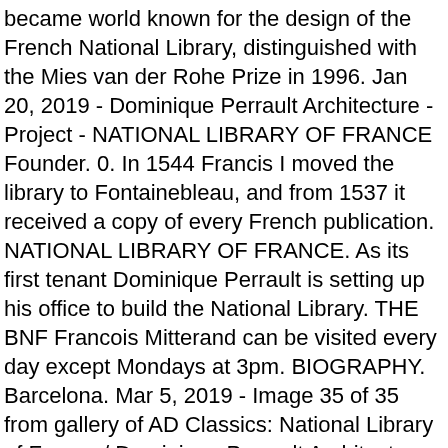became world known for the design of the French National Library, distinguished with the Mies van der Rohe Prize in 1996. Jan 20, 2019 - Dominique Perrault Architecture - Project - NATIONAL LIBRARY OF FRANCE Founder. 0. In 1544 Francis I moved the library to Fontainebleau, and from 1537 it received a copy of every French publication. NATIONAL LIBRARY OF FRANCE. As its first tenant Dominique Perrault is setting up his office to build the National Library. THE BNF Francois Mitterand can be visited every day except Mondays at 3pm. BIOGRAPHY. Barcelona. Mar 5, 2019 - Image 35 of 35 from gallery of AD Classics: National Library of France / Dominique Perrault Architecture. Contemporary architecture in Barcelona, Hotel ME, by Dominique Perrault y AIA Salazar - Navarro. This was the work of Dominique Perrault, Jan Kaplicky, James Stirling and Philippe Chaix. Watch fullscreen. Search. About this talk. Georges Fessy / DPA / Adagp . Charles had received a collection of manuscripts from his predecessor, John II, and transferred them to the Louvre from the Palais de la Cité.The first librarian of record was Claude Mallet, the king's valet de chambre, who made a sort of ... Find